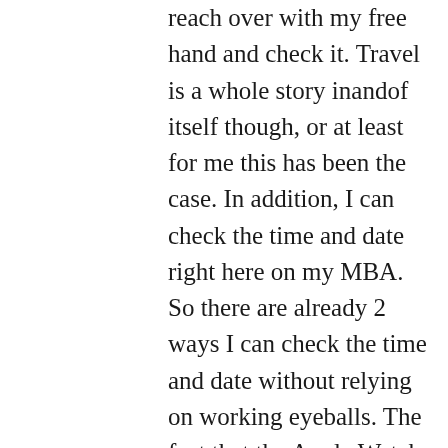reach over with my free hand and check it. Travel is a whole story inandof itself though, or at least for me this has been the case. In addition, I can check the time and date right here on my MBA. So there are already 2 ways I can check the time and date without relying on working eyeballs. The fact that the Apple Watch will need to be charged from time to time, just sounds rather awkward to me. While these other features do sound pretty awesome, I'm in complete agreement that they are duplicated on other devices specifically meant for that purpose. I don't currently own an i-device of any kind, but that might change somewhere down the road. There are already work-out apps out there that are accessible. I would, however, enjoy hearing the Apple Watch